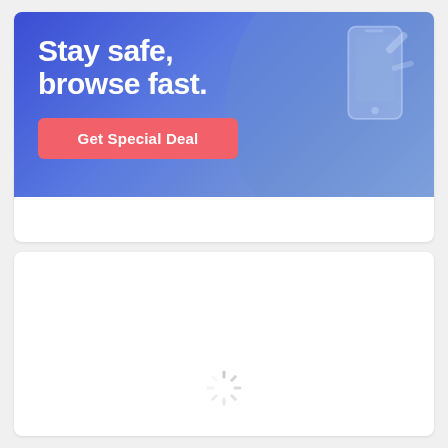[Figure (illustration): Advertisement banner with blue gradient background showing text 'Stay safe, browse fast.' and a pink 'Get Special Deal' button, with a person holding a phone on the right side]
[Figure (illustration): White card panel with a loading spinner icon at the bottom center, indicating content is loading]